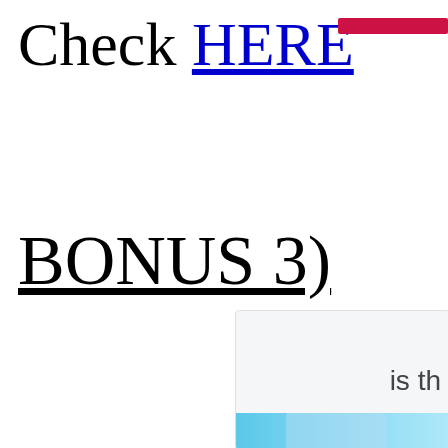Check HERE
[Figure (other): Red horizontal bar in upper right corner]
BONUS 3)
[Figure (screenshot): Partial screenshot showing text 'is th' and a blue bar at the bottom]